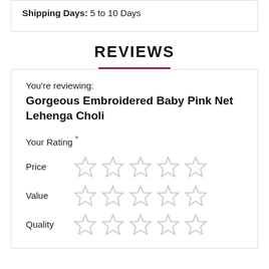Shipping Days: 5 to 10 Days
REVIEWS
You're reviewing:
Gorgeous Embroidered Baby Pink Net Lehenga Choli
Your Rating *
Price — 5 empty stars
Value — 5 empty stars
Quality — 5 empty stars